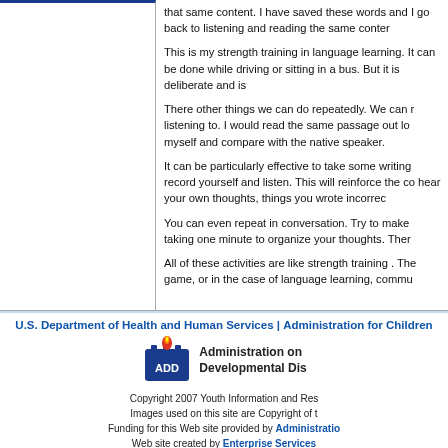that same content. I have saved these words and I go back to listening and reading the same content.
This is my strength training in language learning. It can be done while driving or sitting in a bus. But it is deliberate and is...
There other things we can do repeatedly. We can read something we are listening to. I would read the same passage out loud to myself and compare with the native speaker.
It can be particularly effective to take some writing and record yourself and listen. This will reinforce the content, and you will hear your own thoughts, things you wrote incorrectly...
You can even repeat in conversation. Try to make a habit of taking one minute to organize your thoughts. Then...
All of these activities are like strength training . The game, or in the case of language learning, communication...
U.S. Department of Health and Human Services | Administration for Children...
[Figure (logo): Administration on Developmental Disabilities (ADD) logo with flame icon]
Copyright 2007 Youth Information and Research... Images used on this site are Copyright of the... Funding for this Web site provided by Administration... Web site created by Enterprise Services...